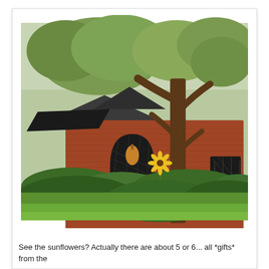[Figure (photo): Outdoor photograph of a brick house with a large tree in the foreground. The house has arched windows with dark lattice panes. Sunflowers and green shrubs are visible in front of the house. A gourd or ornament hangs near the arched doorway. Green lawn in the foreground.]
See the sunflowers? Actually there are about 5 or 6... all *gifts* from the